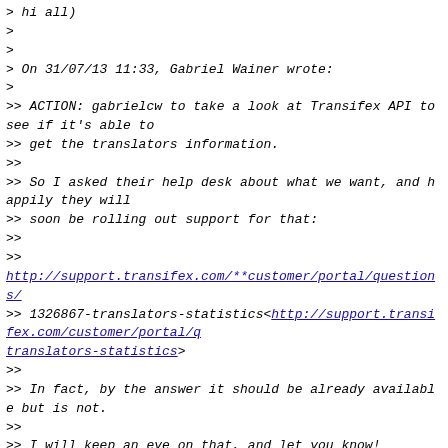> hi all)
>
>
> On 31/07/13 11:33, Gabriel Wainer wrote:
>
>> ACTION: gabrielcw to take a look at Transifex API to see if it's able to
>> get the translators information.
>>
>> So I asked their help desk about what we want, and happily they will
>> soon be rolling out support for that:
>>
>>
http://support.transifex.com/**customer/portal/questions/
>> 1326867-translators-statistics<http://support.transifex.com/customer/portal/questions/1326867-translators-statistics>
>>
>> In fact, by the answer it should be already available but is not.
>>
>> I will keep an eye on that, and let you know!
>>
>
> It's been several months with no followup from Transifex. So, I don't
> think we can expect any assistance from them.
>
> I can propose a DIY/hack solution, using this:
>